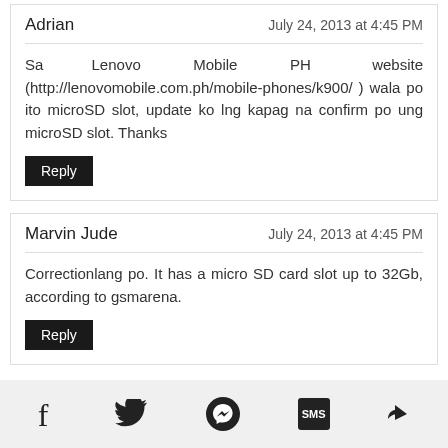Adrian — July 24, 2013 at 4:45 PM
Sa Lenovo Mobile PH website (http://lenovomobile.com.ph/mobile-phones/k900/ ) wala po ito microSD slot, update ko lng kapag na confirm po ung microSD slot. Thanks
Reply
Marvin Jude — July 24, 2013 at 4:45 PM
Correctionlang po. It has a micro SD card slot up to 32Gb, according to gsmarena.
Reply
To leave a comment, click the button below to sign in with Google.
SIGN IN WITH GOOGLE
Social share icons: Facebook, Twitter, Messenger, SMS, Share